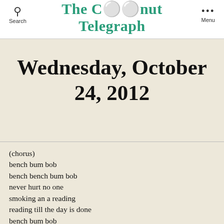Search  The Coconut Telegraph  Menu
Wednesday, October 24, 2012
(chorus)
bench bum bob
bench bench bum bob
never hurt no one
smoking an a reading
reading till the day is done
bench bum bob
bench bench bum bob

Verse:
hes got no phone,or email spot
hes got to bill like no allet